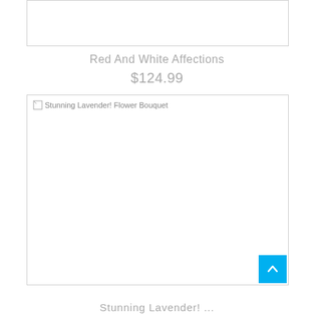[Figure (photo): Top product image placeholder box — white rectangle with border, image not loaded]
Red And White Affections
$124.99
[Figure (photo): Stunning Lavender! Flower Bouquet — large product image placeholder, image not loaded, alt text visible]
Stunning Lavender! Flower Bouquet